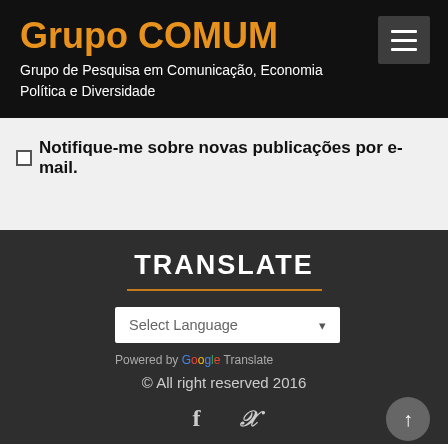Grupo COMUM
Grupo de Pesquisa em Comunicação, Economia Política e Diversidade
Notifique-me sobre novas publicações por e-mail.
TRANSLATE
Select Language
Powered by Google Translate
© All right reserved 2016